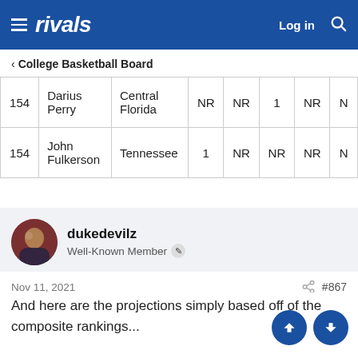rivals  Log in
< College Basketball Board
|  | Name | School |  |  |  |  |  |
| --- | --- | --- | --- | --- | --- | --- | --- |
| 154 | Darius Perry | Central Florida | NR | NR | 1 | NR | N |
| 154 | John Fulkerson | Tennessee | 1 | NR | NR | NR | N |
dukedevilz
Well-Known Member
Nov 11, 2021  #867
And here are the projections simply based off of the composite rankings...